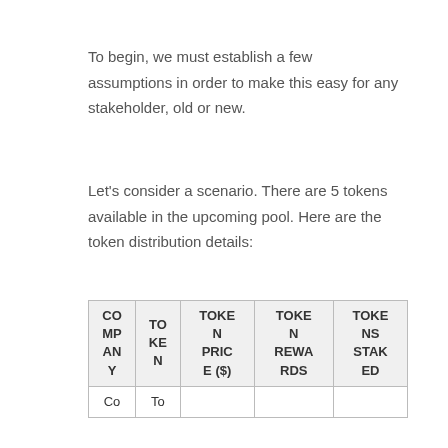To begin, we must establish a few assumptions in order to make this easy for any stakeholder, old or new.
Let's consider a scenario. There are 5 tokens available in the upcoming pool. Here are the token distribution details:
| COMPANY | TOKEN | TOKEN PRICE ($) | TOKEN REWARDS | TOKENS STAKED |
| --- | --- | --- | --- | --- |
| Co | To |  |  |  |